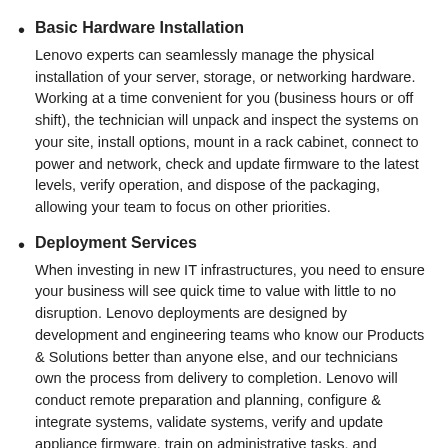Basic Hardware Installation
Lenovo experts can seamlessly manage the physical installation of your server, storage, or networking hardware. Working at a time convenient for you (business hours or off shift), the technician will unpack and inspect the systems on your site, install options, mount in a rack cabinet, connect to power and network, check and update firmware to the latest levels, verify operation, and dispose of the packaging, allowing your team to focus on other priorities.
Deployment Services
When investing in new IT infrastructures, you need to ensure your business will see quick time to value with little to no disruption. Lenovo deployments are designed by development and engineering teams who know our Products & Solutions better than anyone else, and our technicians own the process from delivery to completion. Lenovo will conduct remote preparation and planning, configure & integrate systems, validate systems, verify and update appliance firmware, train on administrative tasks, and provide post-deployment